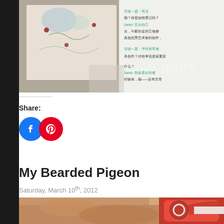[Figure (photo): Top portion of a magazine page showing embroidery/craft designs with Chinese text visible on the right side]
Share:
[Figure (infographic): Facebook and Pinterest share icon buttons — blue circle with F logo and red circle with P logo]
My Bearded Pigeon
Saturday, March 10th, 2012
[Figure (photo): Close-up photo of hands holding red scissors cutting white paper]